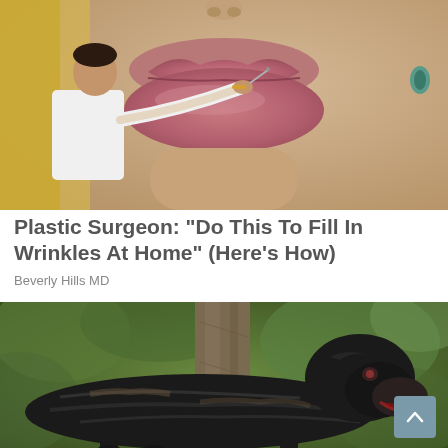[Figure (photo): Close-up of a woman's lips and lower face with a man in a white shirt appearing to inject or treat her lip area with a needle/syringe. The woman has blonde hair and teal earrings.]
Plastic Surgeon: “Do This To Fill In Wrinkles At Home” (Here’s How)
Beverly Hills MD
[Figure (photo): A large black Cane Corso dog standing outdoors in green foliage near a tree trunk.]